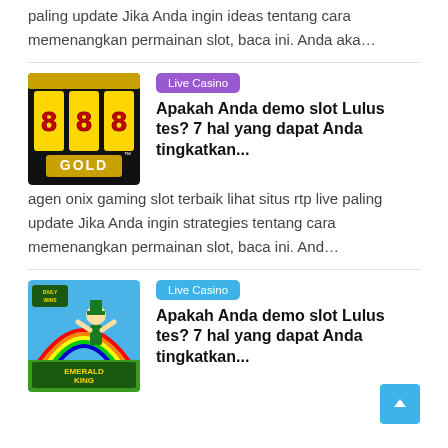paling update Jika Anda ingin ideas tentang cara memenangkan permainan slot, baca ini. Anda aka…
[Figure (illustration): 888 Gold slot machine game image with red 8s and gold text]
Live Casino
Apakah Anda demo slot Lulus tes? 7 hal yang dapat Anda tingkatkan...
agen onix gaming slot terbaik lihat situs rtp live paling update Jika Anda ingin strategies tentang cara memenangkan permainan slot, baca ini. And…
[Figure (illustration): Emerald King Rainbow Road slot game image with leprechaun character]
Live Casino
Apakah Anda demo slot Lulus tes? 7 hal yang dapat Anda tingkatkan...